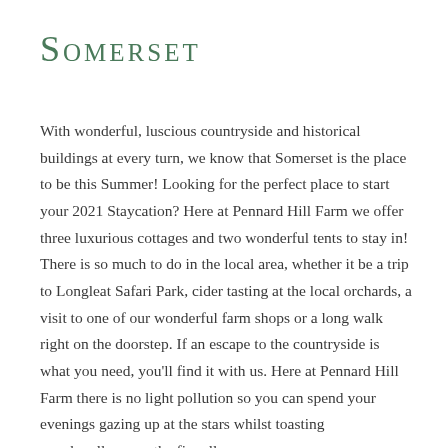Somerset
With wonderful, luscious countryside and historical buildings at every turn, we know that Somerset is the place to be this Summer! Looking for the perfect place to start your 2021 Staycation? Here at Pennard Hill Farm we offer three luxurious cottages and two wonderful tents to stay in! There is so much to do in the local area, whether it be a trip to Longleat Safari Park, cider tasting at the local orchards, a visit to one of our wonderful farm shops or a long walk right on the doorstep. If an escape to the countryside is what you need, you’ll find it with us. Here at Pennard Hill Farm there is no light pollution so you can spend your evenings gazing up at the stars whilst toasting marshmallows on the fire all [continues]